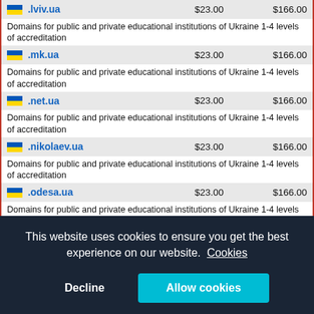| Domain | Price | Renewal |
| --- | --- | --- |
| .lviv.ua | $23.00 | $166.00 |
| Domains for public and private educational institutions of Ukraine 1-4 levels of accreditation |  |  |
| .mk.ua | $23.00 | $166.00 |
| Domains for public and private educational institutions of Ukraine 1-4 levels of accreditation |  |  |
| .net.ua | $23.00 | $166.00 |
| Domains for public and private educational institutions of Ukraine 1-4 levels of accreditation |  |  |
| .nikolaev.ua | $23.00 | $166.00 |
| Domains for public and private educational institutions of Ukraine 1-4 levels of accreditation |  |  |
| .odesa.ua | $23.00 | $166.00 |
| Domains for public and private educational institutions of Ukraine 1-4 levels of accreditation |  |  |
| .odessa.ua | $23.00 | $166.00 |
| Domains for public and private educational institutions of Ukraine |  |  |
This website uses cookies to ensure you get the best experience on our website. Cookies
Decline
Allow cookies